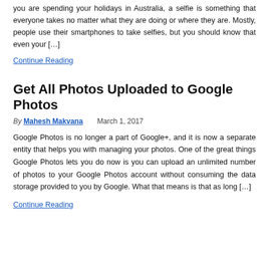you are spending your holidays in Australia, a selfie is something that everyone takes no matter what they are doing or where they are. Mostly, people use their smartphones to take selfies, but you should know that even your […]
Continue Reading
Get All Photos Uploaded to Google Photos
By Mahesh Makvana   March 1, 2017
Google Photos is no longer a part of Google+, and it is now a separate entity that helps you with managing your photos. One of the great things Google Photos lets you do now is you can upload an unlimited number of photos to your Google Photos account without consuming the data storage provided to you by Google. What that means is that as long […]
Continue Reading